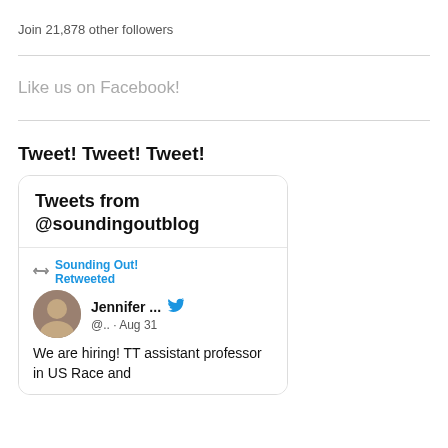Join 21,878 other followers
Like us on Facebook!
Tweet! Tweet! Tweet!
[Figure (screenshot): Twitter widget showing 'Tweets from @soundingoutblog' with a retweet by Sounding Out! of Jennifer ... (@.. · Aug 31) with text 'We are hiring! TT assistant professor in US Race and']
We are hiring!  TT assistant professor in US Race and